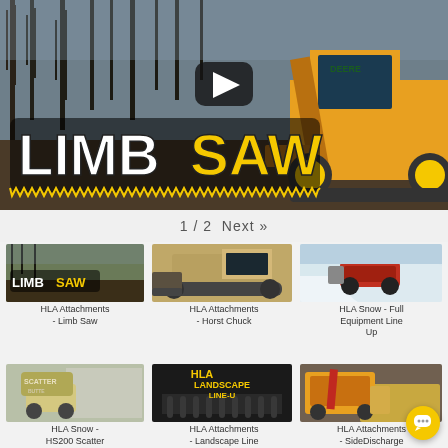[Figure (screenshot): Main featured video thumbnail showing LIMB SAW logo text (LIMB in white, SAW in yellow) overlaid on an outdoor scene with a yellow John Deere skid steer loader. A YouTube-style play button is visible at top center.]
1 / 2  Next »
[Figure (screenshot): Thumbnail for HLA Attachments - Limb Saw video showing LIMB SAW logo on outdoor background]
HLA Attachments - Limb Saw
[Figure (screenshot): Thumbnail for HLA Attachments - Horst Chuck video showing tracked machine with attachment]
HLA Attachments - Horst Chuck
[Figure (screenshot): Thumbnail for HLA Snow - Full Equipment Line Up video showing red ATV in snow]
HLA Snow - Full Equipment Line Up
[Figure (screenshot): Thumbnail for HLA Snow - HS200 Scatter video showing scatter equipment]
HLA Snow - HS200 Scatter
[Figure (screenshot): Thumbnail for HLA Attachments - Landscape Line video with yellow text HLA LANDSCAPE LINE-U on dark background]
HLA Attachments - Landscape Line
[Figure (screenshot): Thumbnail for HLA Attachments - SideDischarge video]
HLA Attachments - SideDischarge